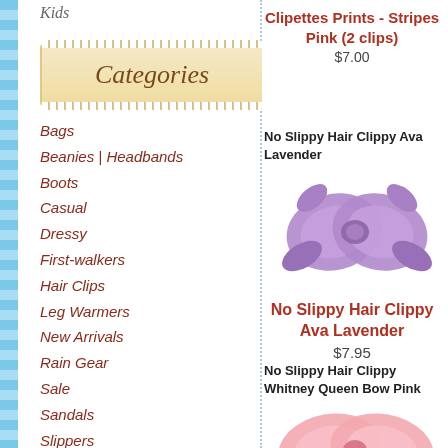Kids
Categories
Bags
Beanies | Headbands
Boots
Casual
Dressy
First-walkers
Hair Clips
Leg Warmers
New Arrivals
Rain Gear
Sale
Sandals
Slippers
Snow Boots
Socks
Sporty
Tights
Clipettes Prints - Stripes Pink (2 clips) $7.00
No Slippy Hair Clippy Ava Lavender
[Figure (photo): Purple/lavender grosgrain hair bow clip]
No Slippy Hair Clippy Ava Lavender $7.95
No Slippy Hair Clippy Whitney Queen Bow Pink
[Figure (photo): Pink satin hair bow clip, partially visible]